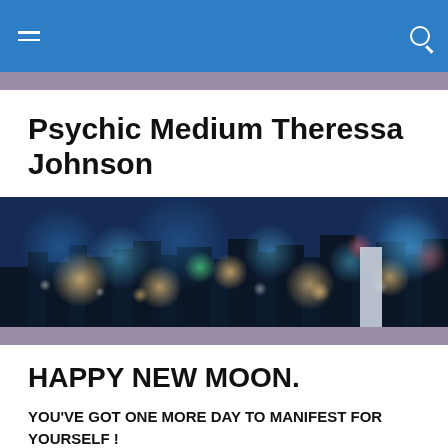Navigation bar with menu and search icons
Psychic Medium Theressa Johnson
[Figure (photo): Blurred bokeh night cityscape with colorful out-of-focus lights in blue, orange, and green tones]
HAPPY NEW MOON.
YOU'VE GOT ONE MORE DAY TO MANIFEST FOR YOURSELF !